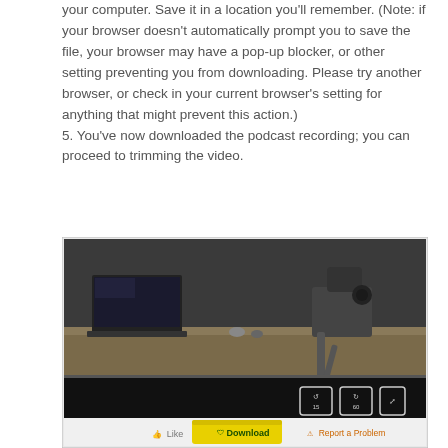your computer. Save it in a location you'll remember. (Note: if your browser doesn't automatically prompt you to save the file, your browser may have a pop-up blocker, or other setting preventing you from downloading. Please try another browser, or check in your current browser's setting for anything that might prevent this action.) 5. You've now downloaded the podcast recording; you can proceed to trimming the video.
[Figure (screenshot): Screenshot of a video player showing recording equipment on a desk (laptop, camera on tripod) with a dark lower portion of the player. Below the video player are UI buttons: a thumbs-up Like button, a yellow Download button with a shield icon, and an orange Report a Problem button.]